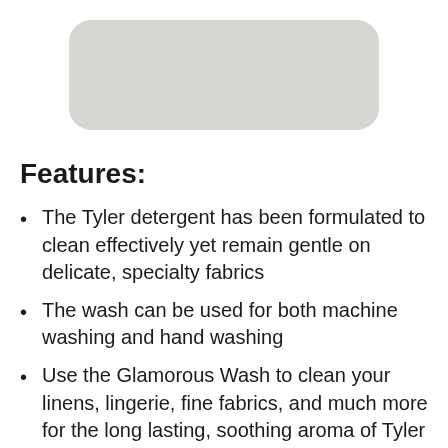[Figure (photo): Product image of Tyler detergent bottle, partially cropped, showing a rounded rectangular container with light gray/beige color.]
Features:
The Tyler detergent has been formulated to clean effectively yet remain gentle on delicate, specialty fabrics
The wash can be used for both machine washing and hand washing
Use the Glamorous Wash to clean your linens, lingerie, fine fabrics, and much more for the long lasting, soothing aroma of Tyler fragrances.
Size: 32oz. (907g)